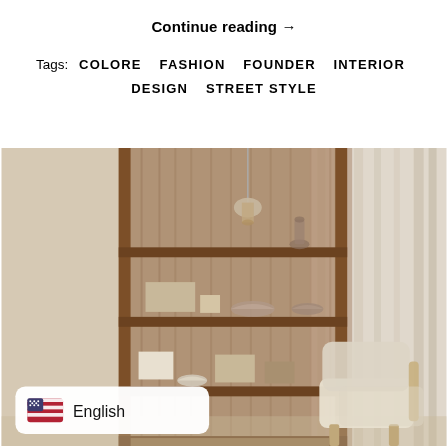Continue reading →
Tags: COLORE  FASHION  FOUNDER  INTERIOR DESIGN  STREET STYLE
[Figure (photo): Interior photo of a warm wooden bookshelf with ceramic items and small objects on shelves, with two light-colored chairs and linen curtains in the background. An English language selector overlay with US flag is visible at the bottom left.]